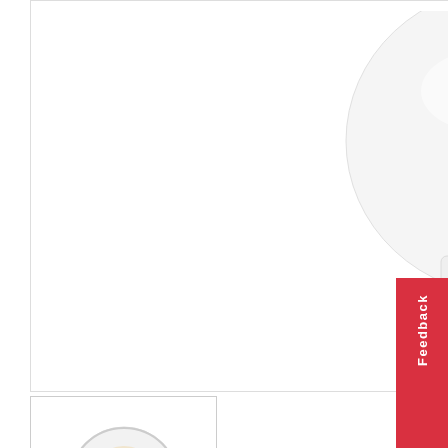[Figure (photo): GU10 LED lamp bulb by Integral, showing the frosted white top and metallic GU10 base with two pins, on white background]
[Figure (photo): Thumbnail of GU10 LED lamp showing the front face with warm white LED visible]
4.9W GU10 LED Lamp 2700K Warm White Non-Dimmable 500lm 36 deg Replacement 75W